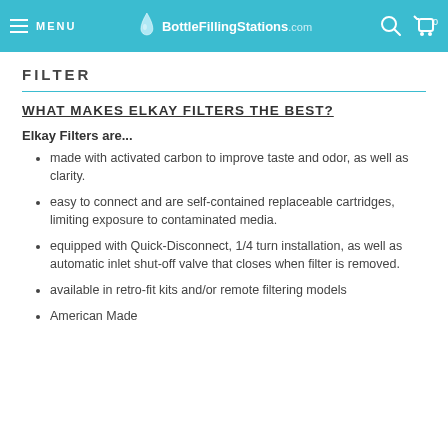MENU | BottleFillingStations.com
FILTER
WHAT MAKES ELKAY FILTERS THE BEST?
Elkay Filters are...
made with activated carbon to improve taste and odor, as well as clarity.
easy to connect and are self-contained replaceable cartridges, limiting exposure to contaminated media.
equipped with Quick-Disconnect, 1/4 turn installation, as well as automatic inlet shut-off valve that closes when filter is removed.
available in retro-fit kits and/or remote filtering models
American Made